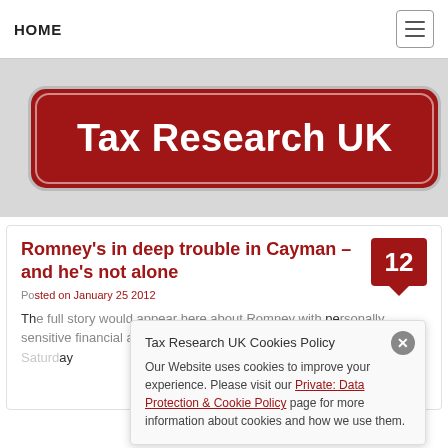HOME
[Figure (logo): Tax Research UK logo — white text on dark red rounded rectangle badge]
Romney's in deep trouble in Cayman – and he's not alone
Posted on January 25 2012
The article body text partially visible mentioning he's about to get worse. On Saturday
Tax Research UK Cookies Policy — Our Website uses cookies to improve your experience. Please visit our Private: Data Protection & Cookie Policy page for more information about cookies and how we use them.